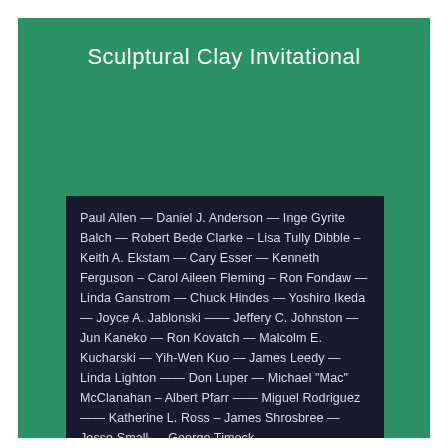Sculptural Clay Invitational
Paul Allen — Daniel J. Anderson — Inge Gyrite Balch — Robert Bede Clarke – Lisa Tully Dibble – Keith A. Ekstam — Cary Esser — Kenneth Ferguson – Carol Aileen Fleming – Ron Fondaw — Linda Ganstrom — Chuck Hindes — Yoshiro Ikeda — Joyce A. Jablonski —— Jeffery C. Johnston — Jun Kaneko — Ron Kovatch — Malcolm E. Kucharski — Yih-Wen Kuo — James Leedy — Linda Lighton —— Don Luper — Michael "Mac" McClanahan – Albert Pfarr —— Miguel Rodriguez —— Katherine L. Ross – James Shrosbree — Jesse Small — George Timock